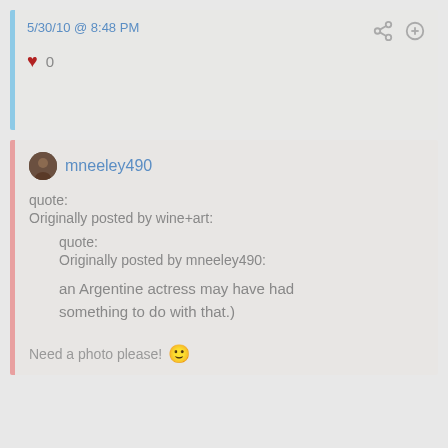5/30/10 @ 8:48 PM
♥ 0
mneeley490
quote:
Originally posted by wine+art:

quote:
Originally posted by mneeley490:

an Argentine actress may have had something to do with that.)
Need a photo please! 🙂